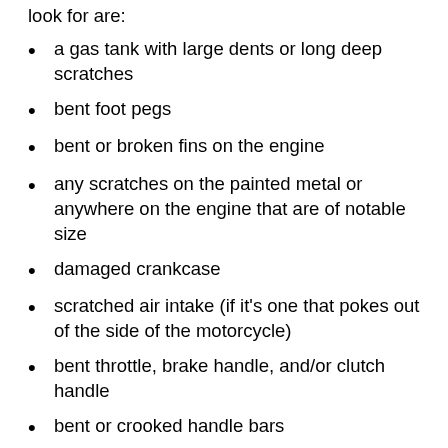look for are:
a gas tank with large dents or long deep scratches
bent foot pegs
bent or broken fins on the engine
any scratches on the painted metal or anywhere on the engine that are of notable size
damaged crankcase
scratched air intake (if it's one that pokes out of the side of the motorcycle)
bent throttle, brake handle, and/or clutch handle
bent or crooked handle bars
If you're looking into purchasing a bike that has been tipped, don't worry too much about it. Assess the physical damage and make sure it runs well and you'll